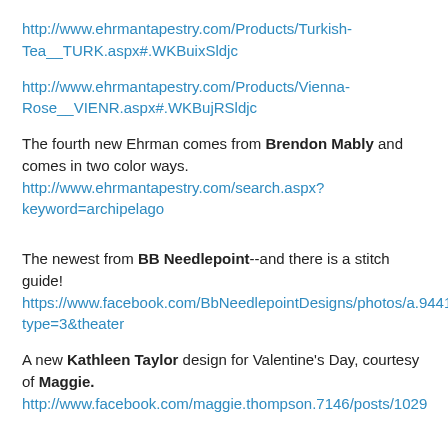http://www.ehrmantapestry.com/Products/Turkish-Tea__TURK.aspx#.WKBuixSldjc
http://www.ehrmantapestry.com/Products/Vienna-Rose__VIENR.aspx#.WKBujRSldjc
The fourth new Ehrman comes from Brendon Mably and comes in two color ways. http://www.ehrmantapestry.com/search.aspx?keyword=archipelago
The newest from BB Needlepoint--and there is a stitch guide! https://www.facebook.com/BbNeedlepointDesigns/photos/a.944189328930607.1073741826.564898870192990/1607089839307216/?type=3&theater
A new Kathleen Taylor design for Valentine's Day, courtesy of Maggie. http://www.facebook.com/maggie.thompson.7146/posts/1029